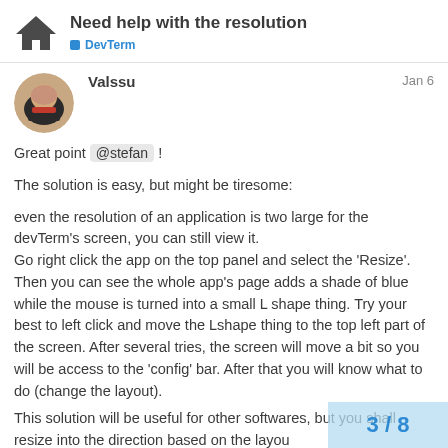Need help with the resolution — DevTerm
Valssu   Jan 6
Great point @stefan !
The solution is easy, but might be tiresome:
even the resolution of an application is two large for the devTerm's screen, you can still view it.
Go right click the app on the top panel and select the 'Resize'. Then you can see the whole app's page adds a shade of blue while the mouse is turned into a small L shape thing. Try your best to left click and move the Lshape thing to the top left part of the screen. After several tries, the screen will move a bit so you will be access to the 'config' bar. After that you will know what to do (change the layout).
This solution will be useful for other softwares, but you shall resize into the direction based on the layou